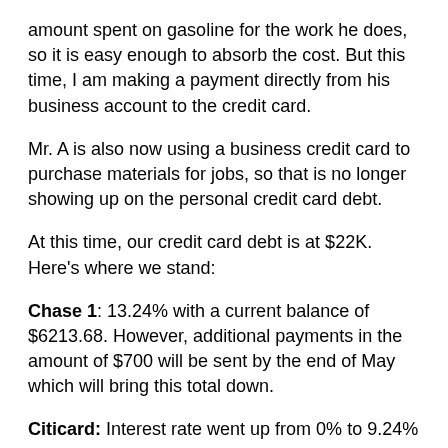amount spent on gasoline for the work he does, so it is easy enough to absorb the cost.  But this time, I am making a payment directly from his business account to the credit card.
Mr. A is also now using a business credit card to purchase materials for jobs, so that is no longer showing up on the personal credit card debt.
At this time, our credit card debt is at $22K.  Here's where we stand:
Chase 1: 13.24% with a current balance of $6213.68. However, additional payments in the amount of $700 will be sent by the end of May which will bring this total down.
Citicard: Interest rate went up from 0% to 9.24% in March with current balance of $2163.84. I need to see if any of my other cards have a 0% interest rate for balance transfers. I